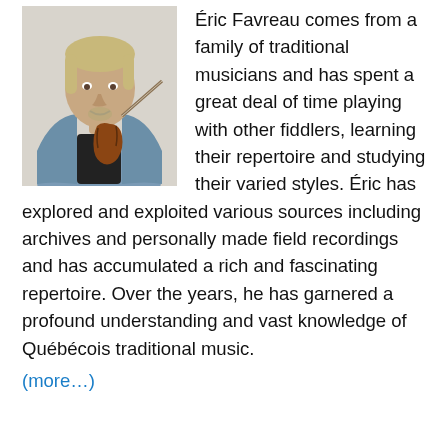[Figure (photo): A man with grey-blonde hair and a goatee, wearing a denim shirt over a black t-shirt, holding a violin and bow, photographed indoors.]
Éric Favreau comes from a family of traditional musicians and has spent a great deal of time playing with other fiddlers, learning their repertoire and studying their varied styles. Éric has explored and exploited various sources including archives and personally made field recordings and has accumulated a rich and fascinating repertoire. Over the years, he has garnered a profound understanding and vast knowledge of Québécois traditional music.
(more…)